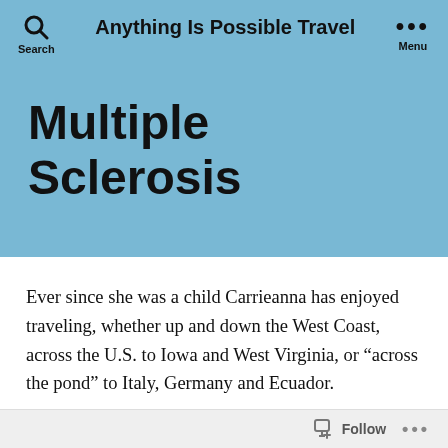Search   Anything Is Possible Travel   Menu
Multiple Sclerosis
Ever since she was a child Carrieanna has enjoyed traveling, whether up and down the West Coast, across the U.S. to Iowa and West Virginia, or “across the pond” to Italy, Germany and Ecuador.
When she was diagnosed with MS in her early 20’s,
Follow ...